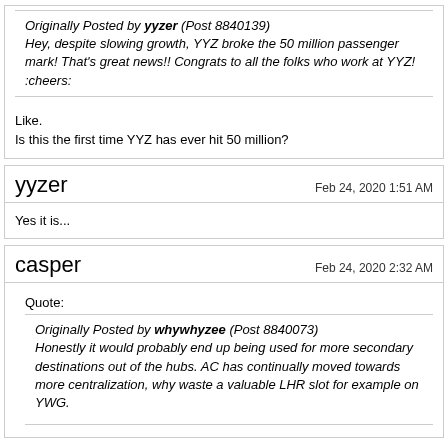Originally Posted by yyzer (Post 8840139)
Hey, despite slowing growth, YYZ broke the 50 million passenger mark! That's great news!! Congrats to all the folks who work at YYZ! :cheers:
Like.
Is this the first time YYZ has ever hit 50 million?
yyzer
Feb 24, 2020 1:51 AM
Yes it is...
casper
Feb 24, 2020 2:32 AM
Quote:
Originally Posted by whywhyzee (Post 8840073)
Honestly it would probably end up being used for more secondary destinations out of the hubs. AC has continually moved towards more centralization, why waste a valuable LHR slot for example on YWG.